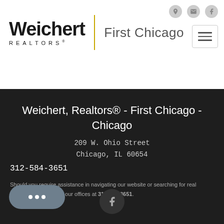[Figure (logo): Weichert Realtors - First Chicago logo with yellow vertical divider]
Weichert, Realtors® - First Chicago - Chicago
209 W. Ohio Street
Chicago, IL 60654
312-584-3651
Should you require assistance in navigating our website or searching for real estate, please contact our offices at 312-584-3651.